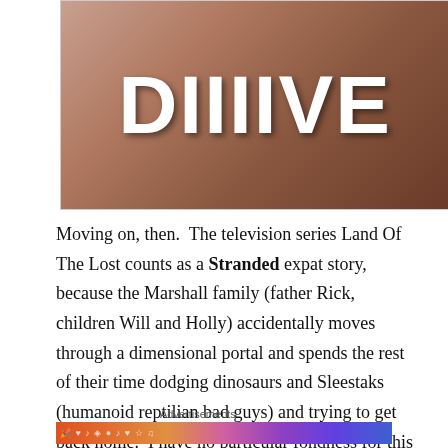[Figure (photo): Top portion of a magazine or blog page showing large bold white text 'DIIIIVE' overlaid on a photo of people with a patterned background]
Moving on, then.  The television series Land Of The Lost counts as a Stranded expat story, because the Marshall family (father Rick, children Will and Holly) accidentally moves through a dimensional portal and spends the rest of their time dodging dinosaurs and Sleestaks (humanoid reptilian bad guys) and trying to get back home.  I have no particular fondness for this series, but I like saying “Sleestak.”
Advertisements